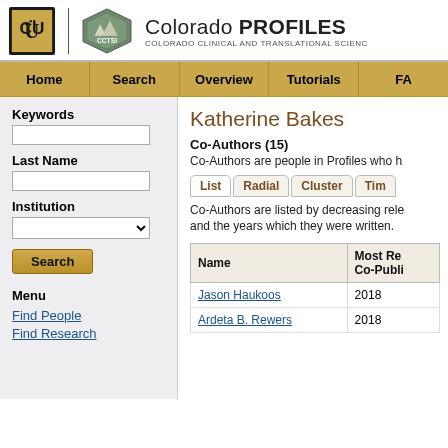Colorado PROFILES — COLORADO CLINICAL AND TRANSLATIONAL SCIENCE
Katherine Bakes
Co-Authors (15)
Co-Authors are people in Profiles who h...
Co-Authors are listed by decreasing relevance and the years which they were written.
| Name | Most Recent Co-Publication |
| --- | --- |
| Jason Haukoos | 2018 |
| Ardeta B. Rewers | 2018 |